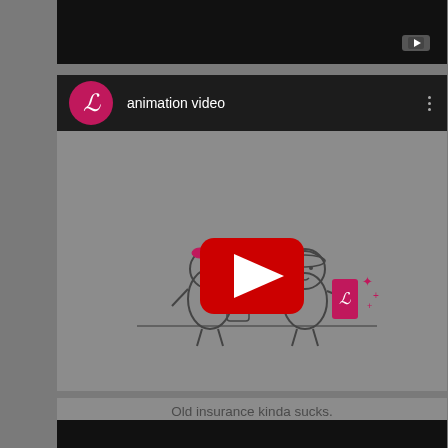[Figure (screenshot): Screenshot of a YouTube embedded video player showing an animation video by an insurance company (Lemonade). The video header shows a pink/magenta circular avatar with a cursive 'L' logo and the text 'animation video'. The video thumbnail shows two cartoon characters (one with a pink bow, one with a helmet/hat holding a pink phone with a cursive L logo) with sparkles, and a large red YouTube play button in the center. Below the video frame is the caption text 'Old insurance kinda sucks.' There is a black bar at the top and bottom representing other video content partially visible.]
Old insurance kinda sucks.